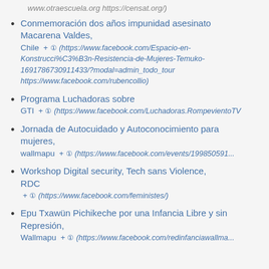www.otraescuela.org https://censat.org/)
Conmemoración dos años impunidad asesinato Macarena Valdes, Chile + (https://www.facebook.com/Espacio-en-Konstrucci%C3%B3n-Resistencia-de-Mujeres-Temuko-1691786730911433/?modal=admin_todo_tour https://www.facebook.com/rubencollio)
Programa Luchadoras sobre GTI + (https://www.facebook.com/Luchadoras.RompevientoTV
Jornada de Autocuidado y Autoconocimiento para mujeres, wallmapu + (https://www.facebook.com/events/199850591...
Workshop Digital security, Tech sans Violence, RDC + (https://www.facebook.com/feministes/)
Epu Txawün Pichikeche por una Infancia Libre y sin Represión, Wallmapu + (https://www.facebook.com/redinfanciawallma...